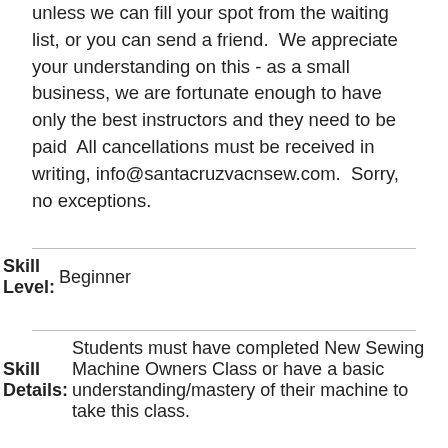unless we can fill your spot from the waiting list, or you can send a friend.  We appreciate your understanding on this - as a small business, we are fortunate enough to have only the best instructors and they need to be paid  All cancellations must be received in writing, info@santacruzvacnsew.com.  Sorry, no exceptions.
|  |  |
| --- | --- |
| Skill Level: | Beginner |
| Skill Details: | Students must have completed New Sewing Machine Owners Class or have a basic understanding/mastery of their machine to take this class. |
| Instructor: | Claire Witherspoon |
| Instructor Bio: | Claire has over 30 years of quilting experience, with just about every style and |